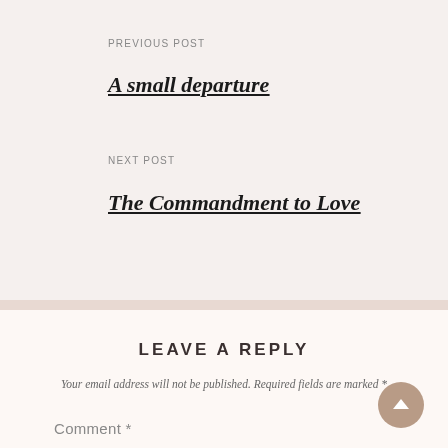PREVIOUS POST
A small departure
NEXT POST
The Commandment to Love
LEAVE A REPLY
Your email address will not be published. Required fields are marked *
Comment *